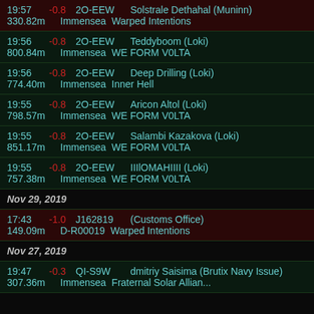19:57 -0.8 2O-EEW Solstrale Dethahal (Muninn) 330.82m Immensea Warped Intentions
19:56 -0.8 2O-EEW Teddyboom (Loki) 800.84m Immensea WE FORM V0LTA
19:56 -0.8 2O-EEW Deep Drilling (Loki) 774.40m Immensea Inner Hell
19:55 -0.8 2O-EEW Aricon Altol (Loki) 798.57m Immensea WE FORM V0LTA
19:55 -0.8 2O-EEW Salambi Kazakova (Loki) 851.17m Immensea WE FORM V0LTA
19:55 -0.8 2O-EEW IIIlOMAHIIII (Loki) 757.38m Immensea WE FORM V0LTA
Nov 29, 2019
17:43 -1.0 J162819 (Customs Office) 149.09m D-R00019 Warped Intentions
Nov 27, 2019
19:47 -0.3 QI-S9W dmitriy Saisima (Brutix Navy Issue) 307.36m Immensea Fraternal Solar Alliance